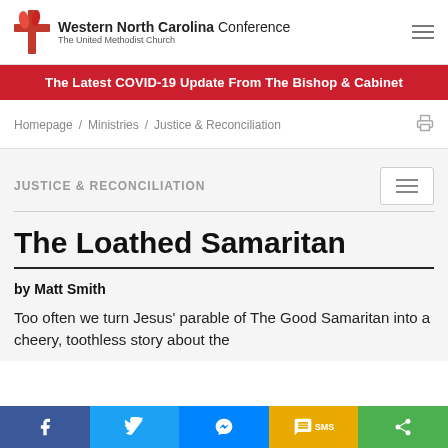Western North Carolina Conference – The United Methodist Church
The Latest COVID-19 Update From The Bishop & Cabinet
Homepage / Ministries / Justice & Reconciliation
JUSTICE & RECONCILIATION
The Loathed Samaritan
by Matt Smith
Too often we turn Jesus' parable of The Good Samaritan into a cheery, toothless story about the